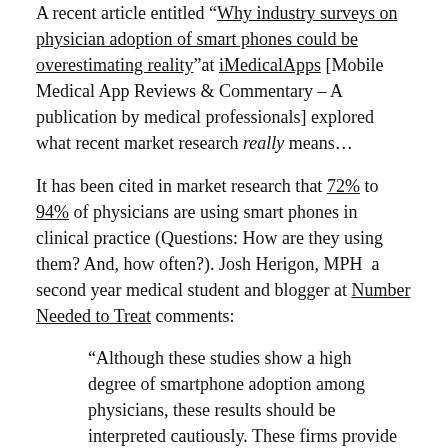A recent article entitled "Why industry surveys on physician adoption of smart phones could be overestimating reality" at iMedicalApps [Mobile Medical App Reviews & Commentary – A publication by medical professionals] explored what recent market research really means…
It has been cited in market research that 72% to 94% of physicians are using smart phones in clinical practice (Questions: How are they using them? And, how often?). Josh Herigon, MPH  a second year medical student and blogger at Number Needed to Treat comments:
"Although these studies show a high degree of smartphone adoption among physicians, these results should be interpreted cautiously. These firms provide few details on how they actually conducted these studies. A major hurdle to conducting such research is sampling bias. This can occur in survey research when